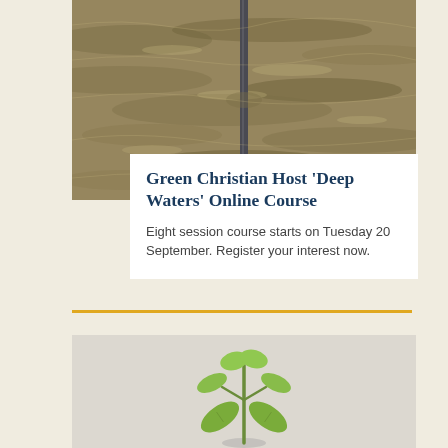[Figure (photo): Top portion of a photo showing muddy floodwater with a metal pole/post in the center, water flowing and turbulent]
Green Christian host 'Deep Waters' online course
Eight session course starts on Tuesday 20 September. Register your interest now.
[Figure (photo): Photo of a small green seedling plant with two pairs of leaves on a light grey/white background]